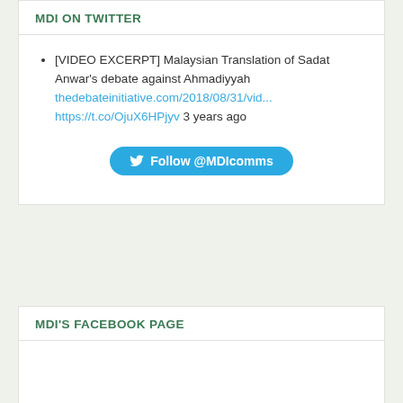MDI ON TWITTER
[VIDEO EXCERPT] Malaysian Translation of Sadat Anwar's debate against Ahmadiyyah thedebateinitiative.com/2018/08/31/vid... https://t.co/OjuX6HPjyv 3 years ago
Follow @MDIcomms
MDI'S FACEBOOK PAGE